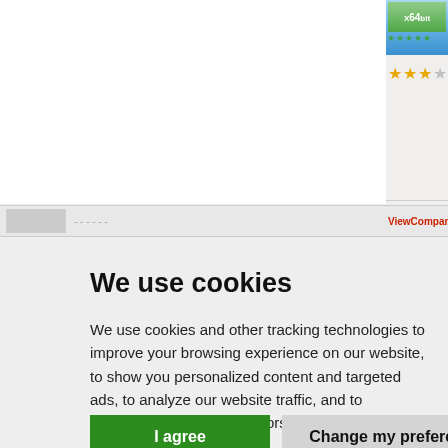[Figure (screenshot): Partial screenshot of a software listing website showing an X64bit badge, star rating (2.5 out of 5), Freeware label, tags including XnView, graphic viewer, browser, viewer, converter, view, freeware, free, preview, screen, capture, slide show, and a partial ViewCompanion Premium listing at the bottom.]
We use cookies
We use cookies and other tracking technologies to improve your browsing experience on our website, to show you personalized content and targeted ads, to analyze our website traffic, and to understand where our visitors are coming from.
I agree
Change my preferences